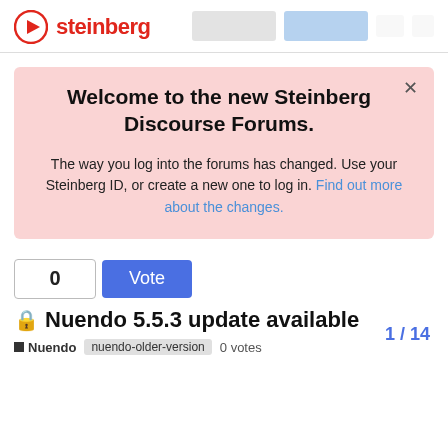steinberg
Welcome to the new Steinberg Discourse Forums.

The way you log into the forums has changed. Use your Steinberg ID, or create a new one to log in. Find out more about the changes.
0  Vote
🔒 Nuendo 5.5.3 update available
■ Nuendo  nuendo-older-version  0 votes
1 / 14